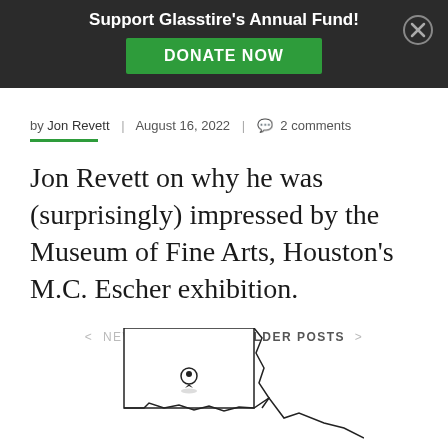[Figure (screenshot): Dark banner overlay with 'Support Glasstire's Annual Fund!' heading, green DONATE NOW button, and close (X) button in top right]
by Jon Revett | August 16, 2022 | 2 comments
Jon Revett on why he was (surprisingly) impressed by the Museum of Fine Arts, Houston's M.C. Escher exhibition.
< NEWER POSTS / OLDER POSTS >
[Figure (map): Partial map outline showing a geographic region with a location pin marker]